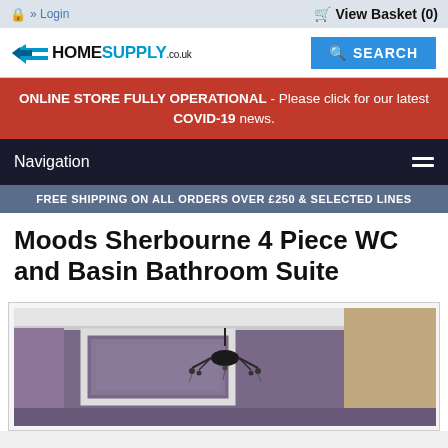🔒 » Login    🛒 View Basket (0)
[Figure (logo): HomeSupply.co.uk logo with blue arrow motif and blue SEARCH button]
ONLINE STORE FULLY OPERATIONAL - Please click for our latest COVID-19 news.
Navigation
FREE SHIPPING ON ALL ORDERS OVER £250 & SELECTED LINES
Moods Sherbourne 4 Piece WC and Basin Bathroom Suite
[Figure (photo): Bathroom interior with purple/grey walls, chandelier, white cornice, wall mirror and decorative wallpaper]